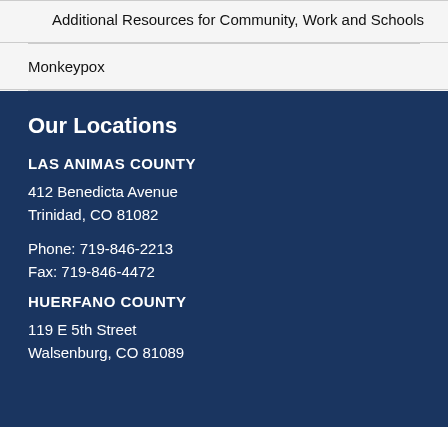Additional Resources for Community, Work and Schools
Monkeypox
Our Locations
LAS ANIMAS COUNTY
412 Benedicta Avenue
Trinidad, CO 81082
Phone: 719-846-2213
Fax: 719-846-4472
HUERFANO COUNTY
119 E 5th Street
Walsenburg, CO 81089